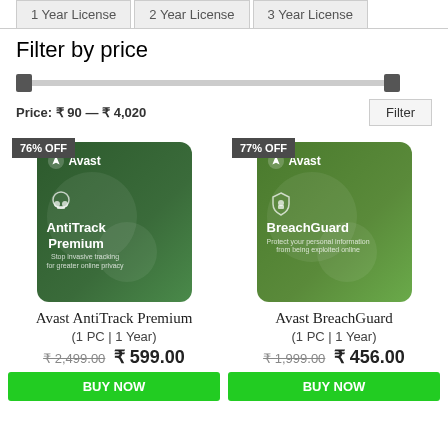1 Year License
2 Year License
3 Year License
Filter by price
Price: ₹ 90 — ₹ 4,020
[Figure (other): Avast AntiTrack Premium product box with 76% OFF badge]
[Figure (other): Avast BreachGuard product box with 77% OFF badge]
Avast AntiTrack Premium
(1 PC | 1 Year)
₹ 2,499.00 ₹ 599.00
Avast BreachGuard
(1 PC | 1 Year)
₹ 1,999.00 ₹ 456.00